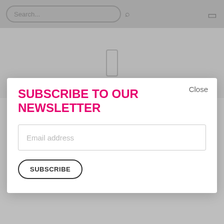Search...
[Figure (screenshot): Small phone/menu icon in header area]
[Figure (screenshot): Small rectangle icon in gray middle area]
Collection Is Simply Stunning
by Rosie McKay
See all the pics from the Moira Hughes' 2018 'The One' bridal collection, plus read our chat with Moira who reveals some exciting news...
SUBSCRIBE TO OUR NEWSLETTER
Close
Email address
SUBSCRIBE